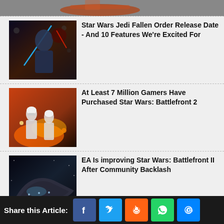[Figure (photo): Partial top image - Star Wars spacecraft/battle scene]
[Figure (photo): Star Wars Jedi Fallen Order promotional art showing protagonist with lightsaber]
Star Wars Jedi Fallen Order Release Date - And 10 Features We're Excited For
[Figure (photo): Star Wars Battlefront 2 stormtroopers in action with fire/explosion background]
At Least 7 Million Gamers Have Purchased Star Wars: Battlefront 2
[Figure (photo): Star Wars Battlefront II spacecraft scene]
EA Is improving Star Wars: Battlefront II After Community Backlash
[Figure (photo): Partial bottom image - Star Wars scene]
Star Wars:
Share this Article: [Facebook] [Twitter] [Reddit] [WhatsApp] [Email]